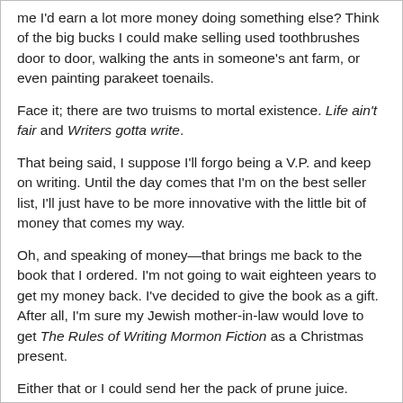me I'd earn a lot more money doing something else? Think of the big bucks I could make selling used toothbrushes door to door, walking the ants in someone's ant farm, or even painting parakeet toenails.
Face it; there are two truisms to mortal existence. Life ain't fair and Writers gotta write.
That being said, I suppose I'll forgo being a V.P. and keep on writing. Until the day comes that I'm on the best seller list, I'll just have to be more innovative with the little bit of money that comes my way.
Oh, and speaking of money—that brings me back to the book that I ordered. I'm not going to wait eighteen years to get my money back. I've decided to give the book as a gift. After all, I'm sure my Jewish mother-in-law would love to get The Rules of Writing Mormon Fiction as a Christmas present.
Either that or I could send her the pack of prune juice.